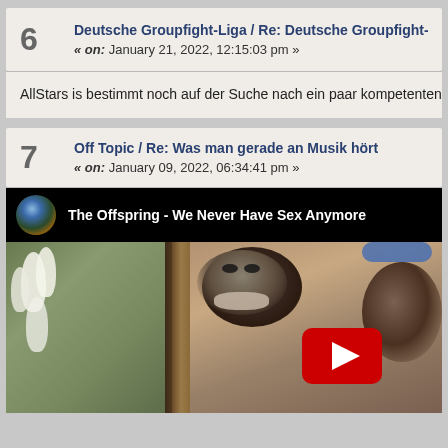6  Deutsche Groupfight-Liga / Re: Deutsche Groupfight-Liga - 7. Sa
« on: January 21, 2022, 12:15:03 pm »
AllStars is bestimmt noch auf der Suche nach ein paar kompetenten Game
7  Off Topic / Re: Was man gerade an Musik hört
« on: January 09, 2022, 06:34:41 pm »
[Figure (screenshot): YouTube video embed showing 'The Offspring - We Never Have Sex Anymore' with a thumbnail of two chimpanzees and a YouTube play button]